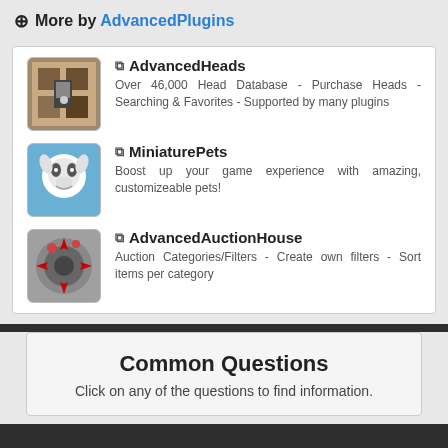More by AdvancedPlugins
AdvancedHeads - Over 46,000 Head Database - Purchase Heads - Searching & Favorites - Supported by many plugins
MiniaturePets - Boost up your game experience with amazing, customizeable pets!
AdvancedAuctionHouse - Auction Categories/Filters - Create own filters - Sort items per category
Common Questions
Click on any of the questions to find information.
We use cookies to ensure you get the best experience on our website, if you continue to browse you'll be acconsent with our Privacy policy.
Got it!